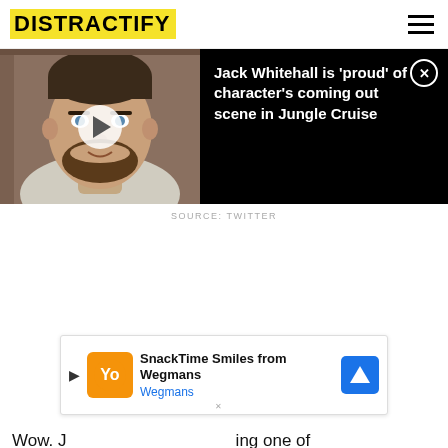DISTRACTIFY
[Figure (photo): Video thumbnail showing a man (Jack Whitehall) with a play button overlay, next to a black panel with text about Jungle Cruise]
Jack Whitehall is 'proud' of character's coming out scene in Jungle Cruise
SOURCE: TWITTER
Wow. J... ing one of
[Figure (infographic): Advertisement banner: SnackTime Smiles from Wegmans - Wegmans]